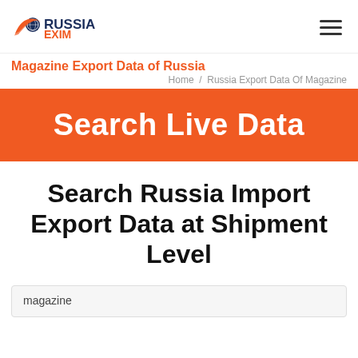[Figure (logo): RussiaExim logo with orange wing/globe icon and text RUSSIA in dark navy, EXIM in orange]
Magazine Export Data of Russia
Home / Russia Export Data Of Magazine
Search Live Data
Search Russia Import Export Data at Shipment Level
magazine